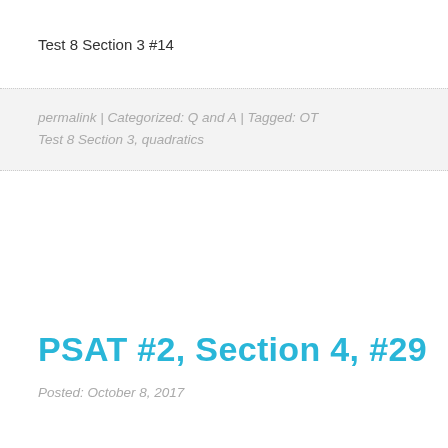Test 8 Section 3 #14
permalink | Categorized: Q and A | Tagged: OT Test 8 Section 3, quadratics
PSAT #2, Section 4, #29
Posted: October 8, 2017